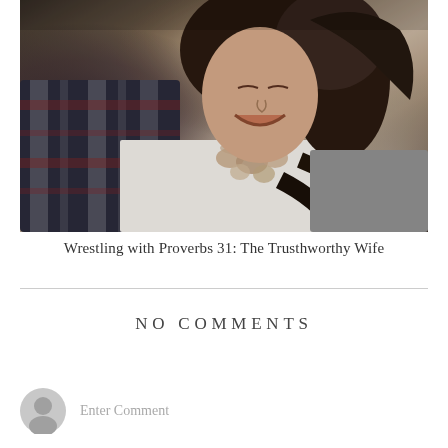[Figure (photo): A couple photographed outdoors. A woman with long dark curly hair wearing a white top with a statement necklace and gray cardigan is laughing, while a man in a plaid shirt stands close behind her. The photo is in a muted, slightly desaturated style.]
Wrestling with Proverbs 31: The Trusthworthy Wife
NO COMMENTS
Enter Comment